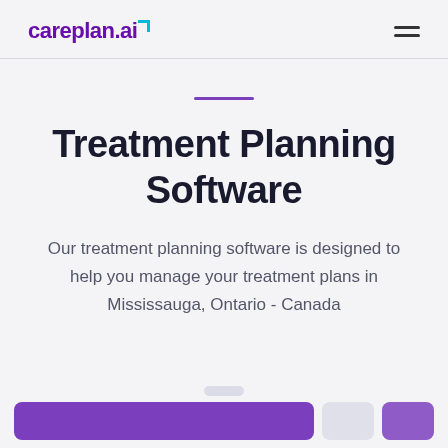careplan.ai
Treatment Planning Software
Our treatment planning software is designed to help you manage your treatment plans in Mississauga, Ontario - Canada